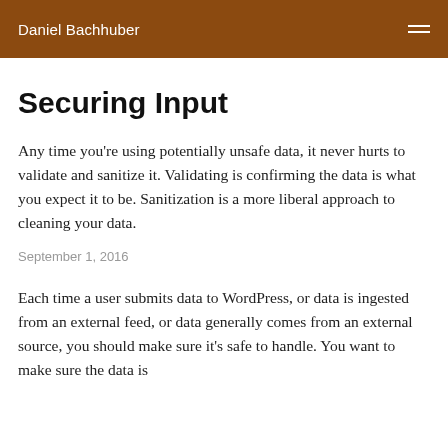Daniel Bachhuber
Securing Input
Any time you're using potentially unsafe data, it never hurts to validate and sanitize it. Validating is confirming the data is what you expect it to be. Sanitization is a more liberal approach to cleaning your data.
September 1, 2016
Each time a user submits data to WordPress, or data is ingested from an external feed, or data generally comes from an external source, you should make sure it's safe to handle. You want to make sure the data is